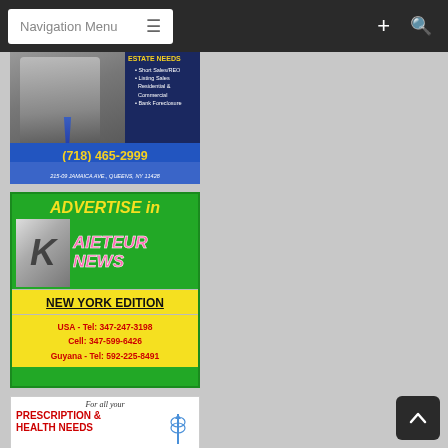Navigation Menu
[Figure (illustration): Real estate advertisement for Jeewan Persaud showing estate needs services including Short Sales/REO, Listing Sales Residential & Commercial, Bank Foreclosure. Phone: (718) 465-2999. Address: 215-09 Jamaica Ave., Queens, NY 11428]
[Figure (illustration): Kaieteur News New York Edition advertisement. ADVERTISE in KAIETEUR NEWS. USA - Tel: 347-247-3198, Cell: 347-599-6426, Guyana - Tel: 592-225-8491]
[Figure (illustration): L. Fernandez Pharmacy advertisement. For all your PRESCRIPTION & HEALTH NEEDS. 123-23 Liberty Ave., Richmond Hill, NY 11419]